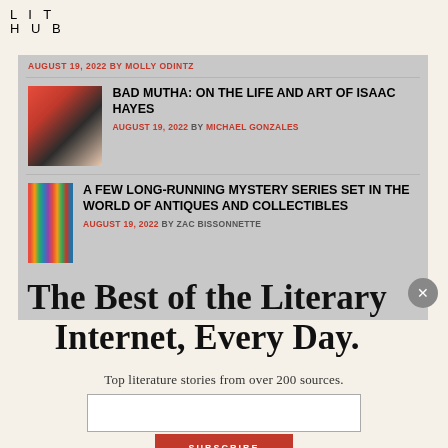LIT HUB
AUGUST 19, 2022 BY MOLLY ODINTZ
BAD MUTHA: ON THE LIFE AND ART OF ISAAC HAYES
AUGUST 19, 2022 BY MICHAEL GONZALES
A FEW LONG-RUNNING MYSTERY SERIES SET IN THE WORLD OF ANTIQUES AND COLLECTIBLES
AUGUST 19, 2022 BY ZAC BISSONNETTE
The Best of the Literary Internet, Every Day.
Top literature stories from over 200 sources.
SUBSCRIBE